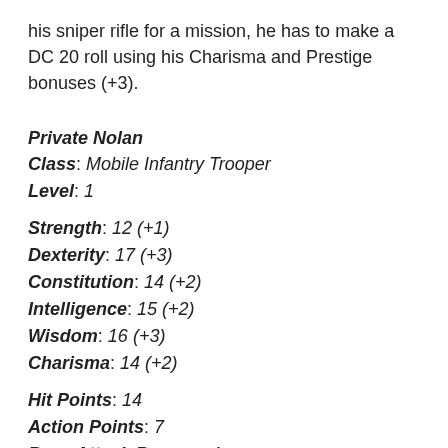his sniper rifle for a mission, he has to make a DC 20 roll using his Charisma and Prestige bonuses (+3).
Private Nolan
Class: Mobile Infantry Trooper
Level: 1
Strength: 12 (+1)
Dexterity: 17 (+3)
Constitution: 14 (+2)
Intelligence: 15 (+2)
Wisdom: 16 (+3)
Charisma: 14 (+2)
Hit Points: 14
Action Points: 7
Base Attack Bonus: +1